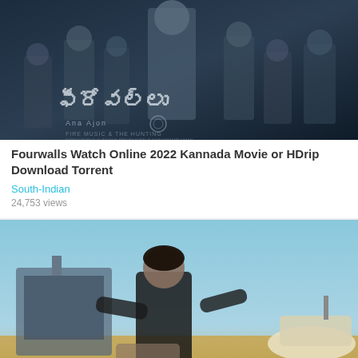[Figure (photo): Movie poster for Fourwalls (2022 Kannada movie) showing multiple cast members on a dark blue background with Telugu/Kannada script title]
Fourwalls Watch Online 2022 Kannada Movie or HDrip Download Torrent
South-Indian
24,753 views
[Figure (photo): Movie poster for Sarkaru Vaari Paata showing a male actor in black shirt crouching on a sandy beach with Telugu script title at bottom]